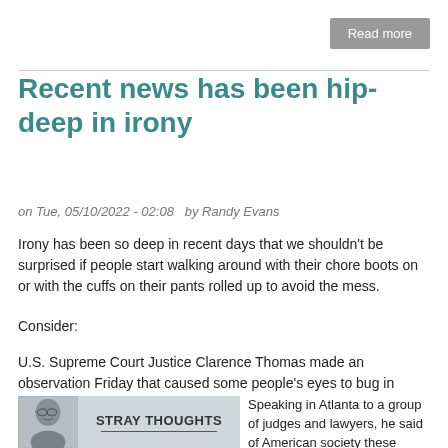Read more
Recent news has been hip-deep in irony
on Tue, 05/10/2022 - 02:08   by Randy Evans
Irony has been so deep in recent days that we shouldn't be surprised if people start walking around with their chore boots on or with the cuffs on their pants rolled up to avoid the mess.
Consider:
U.S. Supreme Court Justice Clarence Thomas made an observation Friday that caused some people's eyes to bug in disbelief.
[Figure (photo): Headshot photo of Randy Evans next to a banner reading STRAY THOUGHTS]
Speaking in Atlanta to a group of judges and lawyers, he said of American society these days, "We are